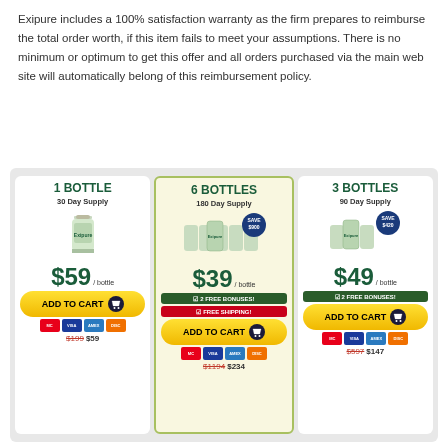Exipure includes a 100% satisfaction warranty as the firm prepares to reimburse the total order worth, if this item fails to meet your assumptions. There is no minimum or optimum to get this offer and all orders purchased via the main web site will automatically belong of this reimbursement policy.
[Figure (infographic): Three product pricing cards for Exipure supplement: 1 Bottle 30 Day Supply at $59/bottle (was $199), 6 Bottles 180 Day Supply at $39/bottle with SAVE $900 badge and 2 free bonuses + free shipping (was $1194 now $234), 3 Bottles 90 Day Supply at $49/bottle with SAVE $420 badge and 2 free bonuses (was $597 now $147). Each card has an ADD TO CART button with shopping cart icon and credit card payment icons.]